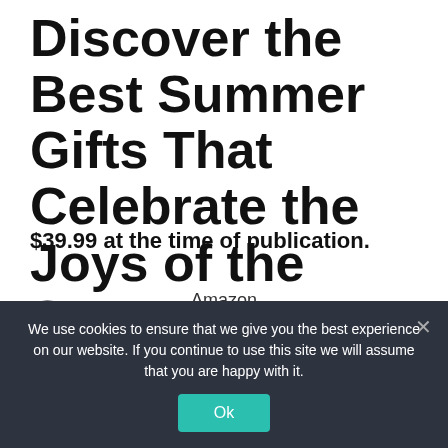Discover the Best Summer Gifts That Celebrate the Joys of the Season.
$39.99 at the time of publication.
Amazon
Who else loves time spent in the backyard playing Bocce? This affordable and best-selling Bocce ball set comes with everything
We use cookies to ensure that we give you the best experience on our website. If you continue to use this site we will assume that you are happy with it.